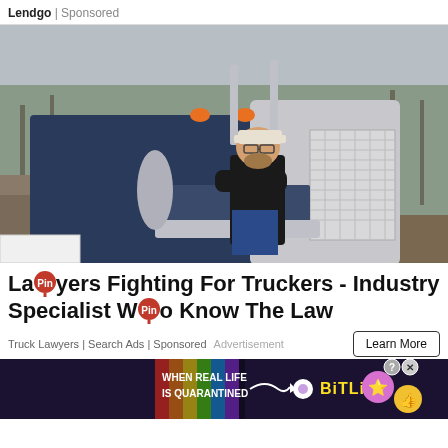Lendgo | Sponsored
[Figure (photo): Middle-aged man with beard and baseball cap, arms crossed, standing in front of a large dark blue Peterbilt semi-truck with chrome grille, outdoors with bare trees and rocky terrain in background]
Lawyers Fighting For Truckers - Industry Specialist Who Know The Law
Truck Lawyers | Search Ads | Sponsored   Advertisement
[Figure (screenshot): BitLife advertisement banner: colorful rainbow stripes on left with text 'WHEN REAL LIFE IS QUARANTINED', arrow pointing to BitLife logo and game icons including a star-eyed emoji face and thumbs up emoji, with X and ? buttons in top right corner]